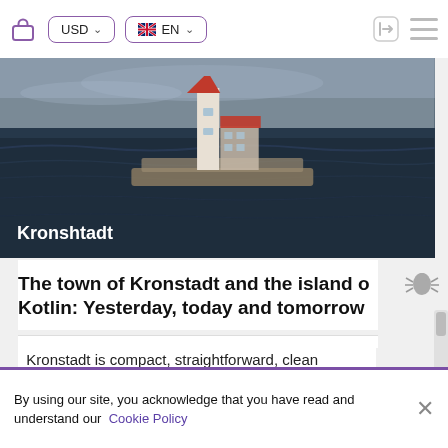USD  EN
[Figure (photo): Aerial or sea-level photo of Kronstadt lighthouse on a small island surrounded by dark water under an overcast sky]
The town of Kronstadt and the island o Kotlin: Yesterday, today and tomorrow
Kronstadt is compact, straightforward, clean and tranquil like an old sailor. It is not flashy in colors, nor does...
By using our site, you acknowledge that you have read and understand our Cookie Policy